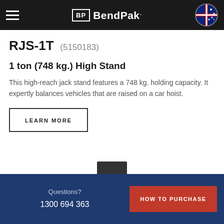BendPak
RJS-1T (5150183)
1 ton (748 kg.) High Stand
This high-reach jack stand features a 748 kg. holding capacity. It expertly balances vehicles that are raised on a car hoist.
LEARN MORE
[Figure (photo): Product image of RJS-1T jack stand, partially visible at bottom of page]
Questions? 1300 694 363 | HOW TO PURCHASE